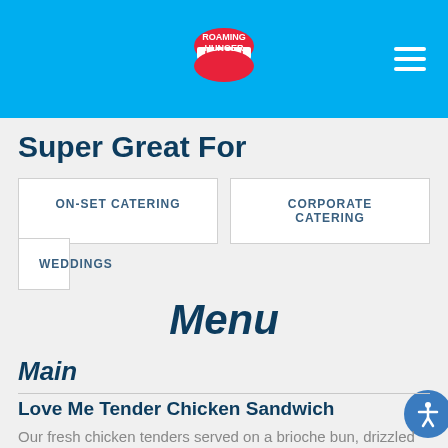Roaming Hunger
Super Great For
ON-SET CATERING
CORPORATE CATERING
WEDDINGS
Menu
Main
Love Me Tender Chicken Sandwich
Our fresh chicken tenders served on a brioche bun, drizzled with our Spirit of '76 sauce, and topped with your